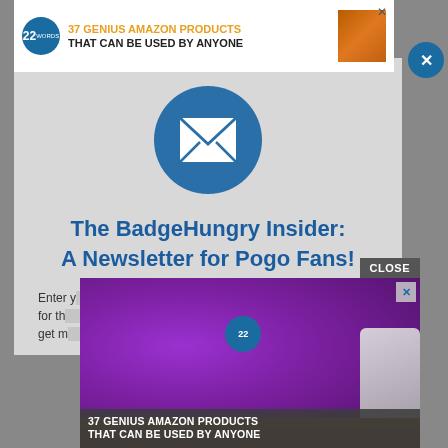[Figure (screenshot): Top banner advertisement: blue circle with '22', text '37 GENIUS AMAZON PRODUCTS THAT CAN BE USED BY ANYONE' with close X button]
[Figure (illustration): Blue circle with white envelope/mail icon]
The BadgeHungry Insider: A Newsletter for Pogo Fans!
Enter [your email address] and sign up for the [BadgeHungry Insider] newsletter. You'll get m[ore info about Pogo games and badges]
[Figure (screenshot): Overlay advertisement showing purple headphones on wooden surface with text '37 GENIUS AMAZON PRODUCTS THAT CAN BE USED BY ANYONE', CLOSE button, and X dismiss button]